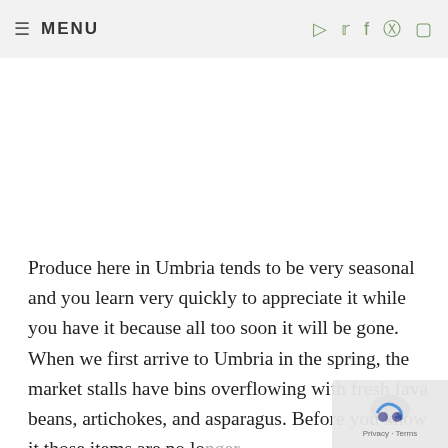≡ MENU
Produce here in Umbria tends to be very seasonal and you learn very quickly to appreciate it while you have it because all too soon it will be gone. When we first arrive to Umbria in the spring, the market stalls have bins overflowing with fresh fava beans, artichokes, and asparagus. Before you know it those items are no longer available and you'll have to wait until next year to ...